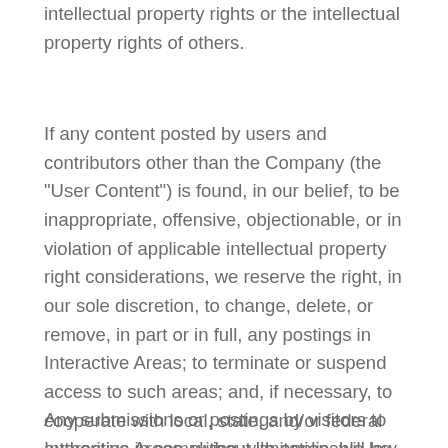intellectual property rights or the intellectual property rights of others.
If any content posted by users and contributors other than the Company (the "User Content") is found, in our belief, to be inappropriate, offensive, objectionable, or in violation of applicable intellectual property right considerations, we reserve the right, in our sole discretion, to change, delete, or remove, in part or in full, any postings in Interactive Areas; to terminate or suspend access to such areas; and, if necessary, to cooperate with local, state, and/or federal authorities in complying with applicable law.
Any submissions or postings by visitors to Interactive Areas, without limitation, will be made available to other visitors and in some cases the